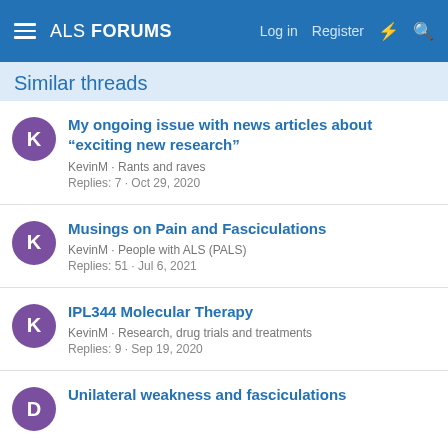ALS FORUMS  Log in  Register
Similar threads
My ongoing issue with news articles about “exciting new research”
KevinM · Rants and raves
Replies: 7 · Oct 29, 2020
Musings on Pain and Fasciculations
KevinM · People with ALS (PALS)
Replies: 51 · Jul 6, 2021
IPL344 Molecular Therapy
KevinM · Research, drug trials and treatments
Replies: 9 · Sep 19, 2020
Unilateral weakness and fasciculations